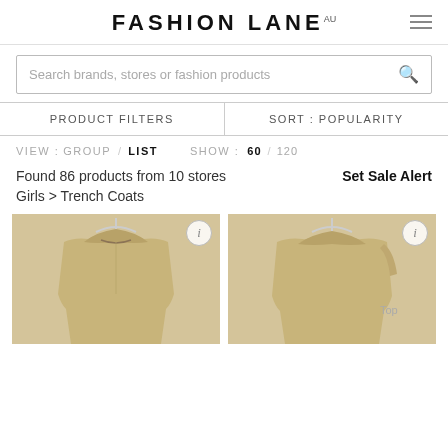FASHION LANE AU
Search brands, stores or fashion products
PRODUCT FILTERS   SORT : POPULARITY
VIEW : GROUP / LIST   SHOW : 60 / 120
Found 86 products from 10 stores
Set Sale Alert
Girls > Trench Coats
[Figure (photo): Two girls trench coats on hangers, beige/tan colored, hooded, viewed from the back]
Top